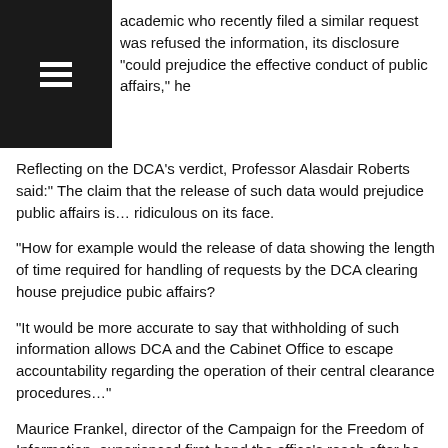[Figure (other): Black square with white hamburger/menu icon in top-left corner]
academic who recently filed a similar request was refused the information, its disclosure "could prejudice the effective conduct of public affairs," he
Reflecting on the DCA’s verdict, Professor Alasdair Roberts said:” The claim that the release of such data would prejudice public affairs is… ridiculous on its face.
“How for example would the release of data showing the length of time required for handling of requests by the DCA clearing house prejudice pubic affairs?
“It would be more accurate to say that withholding of such information allows DCA and the Cabinet Office to escape accountability regarding the operation of their central clearance procedures…”
Maurice Frankel, director of the Campaign for the Freedom of Information, experienced first-hand the office’s reach after he requested the internal reviews for each government department.
“I started getting my requests refused and discovered that the clearing house had advised departments to refuse to release their internal reviews to me, on the grounds that the information was not held in the form requested,” he said.
In light of the complaints, the MPs tabled recommendations about how the clearing house should be managed in the future, which include publishing quarterly statistics on the cases it handles.